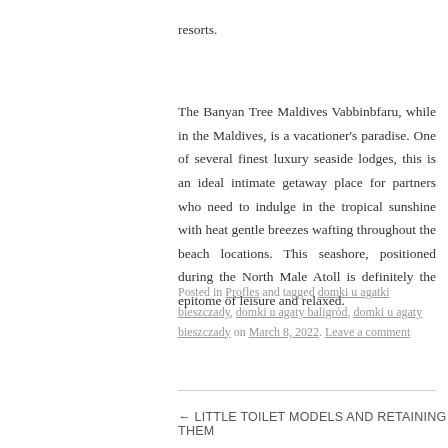resorts.
The Banyan Tree Maldives Vabbinbfaru, while in the Maldives, is a vacationer's paradise. One of several finest luxury seaside lodges, this is an ideal intimate getaway place for partners who need to indulge in the tropical sunshine with heat gentle breezes wafting throughout the beach locations. This seashore, positioned during the North Male Atoll is definitely the epitome of leisure and relaxed.
Posted in Profles and tagged domki u agatki bieszczady, domki u agaty baligród, domki u agaty bieszczady on March 8, 2022. Leave a comment
← LITTLE TOILET MODELS AND RETAINING THEM